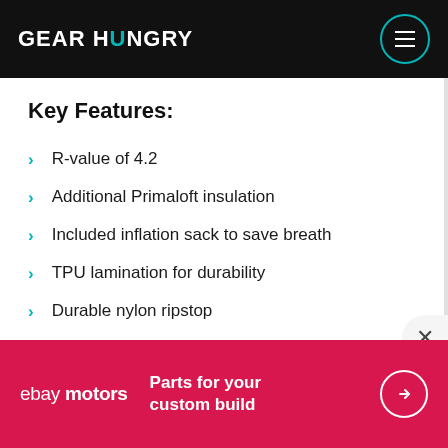GEARHUNGRY
Key Features:
R-value of 4.2
Additional Primaloft insulation
Included inflation sack to save breath
TPU lamination for durability
Durable nylon ripstop
Quilted top
[Figure (infographic): eBay Motors advertisement banner: red background with ebay motors logo on left, 'Parts for your custom build' text in center, and circular arrow button on right]